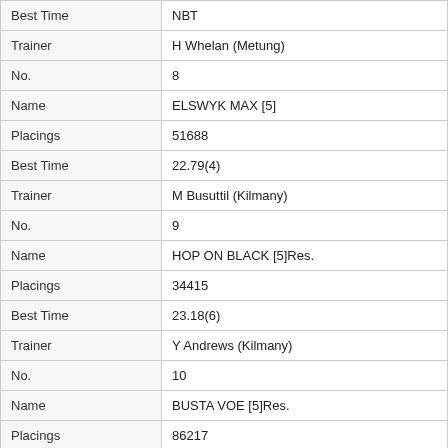| Field | Value |
| --- | --- |
| Best Time | NBT |
| Trainer | H Whelan (Metung) |
| No. | 8 |
| Name | ELSWYK MAX [5] |
| Placings | 51688 |
| Best Time | 22.79(4) |
| Trainer | M Busuttil (Kilmany) |
| No. | 9 |
| Name | HOP ON BLACK [5]Res. |
| Placings | 34415 |
| Best Time | 23.18(6) |
| Trainer | Y Andrews (Kilmany) |
| No. | 10 |
| Name | BUSTA VOE [5]Res. |
| Placings | 86217 |
| Best Time | 22.74(1) |
| Trainer | W Read (Devon Meadows) |